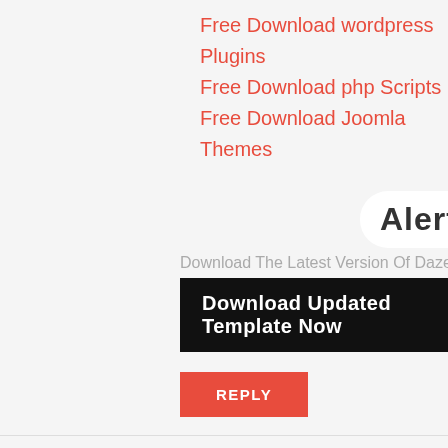Free Download wordpress Plugins
Free Download php Scripts
Free Download Joomla Themes
Alert!!
Download The Latest Version Of Daze Temp
Download Updated Template Now
REPLY
Abhi blogger
22 September 2020 at 03:50
This is really beautiful template thank you for sharing this with us. :) neha singh
REPLY
DELETE